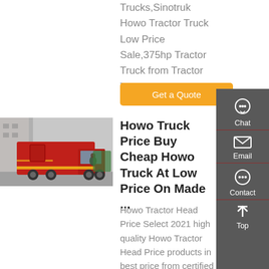Trucks,Sinotruk Howo Tractor Truck Low Price Sale,375hp Tractor Truck from Tractor Trucks Supplier or ...
[Figure (other): Orange 'Get a Quote' button]
[Figure (photo): Photo of a red Howo truck being loaded or displayed outdoors]
Howo Truck Price Buy Cheap Howo Truck At Low Price On Made ...
Howo Tractor Head Price Select 2021 high quality Howo Tractor Head Price products in best price from certified Chinese
[Figure (other): Right sidebar with Chat, Email, Contact, and Top navigation icons on dark gray background]